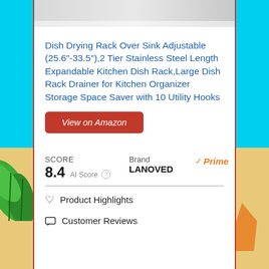[Figure (photo): Partial view of a dish drying rack product photo at top of card]
Dish Drying Rack Over Sink Adjustable (25.6"-33.5"),2 Tier Stainless Steel Length Expandable Kitchen Dish Rack,Large Dish Rack Drainer for Kitchen Organizer Storage Space Saver with 10 Utility Hooks
View on Amazon
SCORE  8.4  AI Score  Brand  LANOVED  Prime
Product Highlights
Customer Reviews